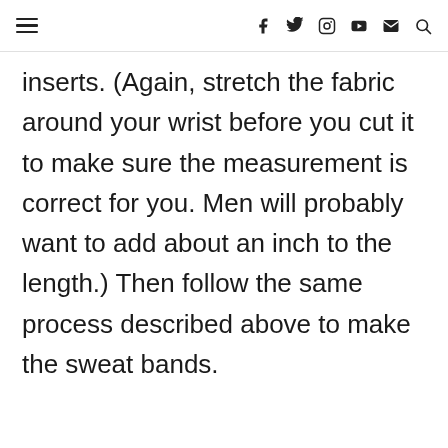≡  f  𝕏  ⊙  ▶  ✉  🔍
inserts. (Again, stretch the fabric around your wrist before you cut it to make sure the measurement is correct for you. Men will probably want to add about an inch to the length.) Then follow the same process described above to make the sweat bands.